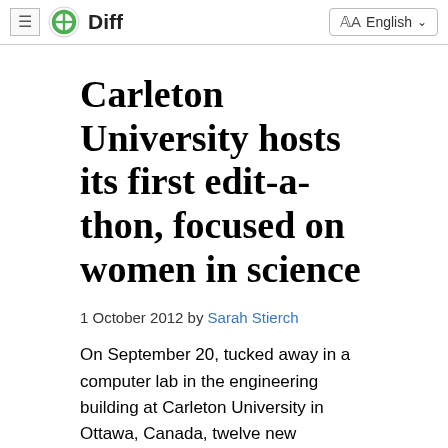≡ Diff | English
Carleton University hosts its first edit-a-thon, focused on women in science
1 October 2012 by Sarah Stierch
On September 20, tucked away in a computer lab in the engineering building at Carleton University in Ottawa, Canada, twelve new Wikipedians learned how to edit Wikipedia. The new editors participated in the Carleton University Women in Science and